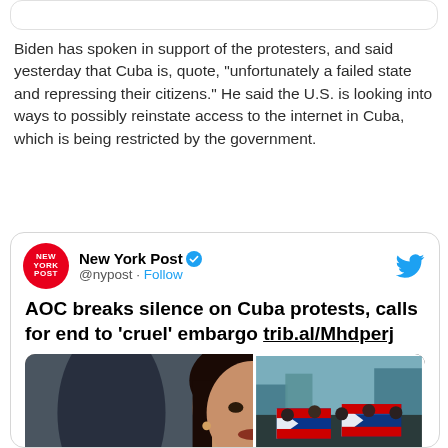Biden has spoken in support of the protesters, and said yesterday that Cuba is, quote, "unfortunately a failed state and repressing their citizens." He said the U.S. is looking into ways to possibly reinstate access to the internet in Cuba, which is being restricted by the government.
[Figure (screenshot): Tweet from New York Post (@nypost) with verified badge, headline: AOC breaks silence on Cuba protests, calls for end to 'cruel' embargo trib.al/Mhdperj, with embedded photo of a woman (AOC) and inset crowd photo with Cuban flags]